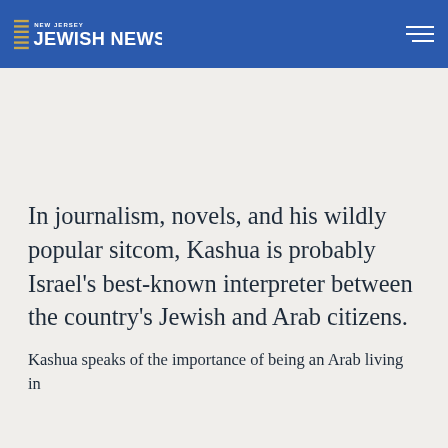New Jersey Jewish News
In journalism, novels, and his wildly popular sitcom, Kashua is probably Israel's best-known interpreter between the country's Jewish and Arab citizens.
Kashua speaks of the importance of being an Arab living in...